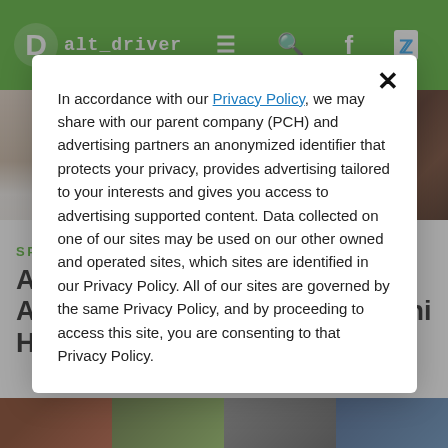alt_driver
[Figure (photo): Two-image strip: left shows person in white t-shirt (cropped face/chest), right shows brown mulch or autumn leaves]
SPORTS CAR
Alleged Fraudster Gets Accused of Buying Lamborghini Huracan With $3.9 Million
In accordance with our Privacy Policy, we may share with our parent company (PCH) and advertising partners an anonymized identifier that protects your privacy, provides advertising tailored to your interests and gives you access to advertising supported content. Data collected on one of our sites may be used on our other owned and operated sites, which sites are identified in our Privacy Policy. All of our sites are governed by the same Privacy Policy, and by proceeding to access this site, you are consenting to that Privacy Policy.
[Figure (photo): Bottom image strip with four thumbnail photos]